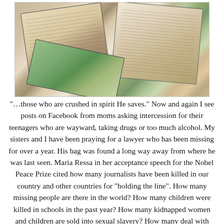[Figure (photo): Photograph of illustrated/decorated journal books or bibles overlapping each other on a white surface. The books appear to have artistic illustrations and handwritten text visible on their pages.]
“…those who are crushed in spirit He saves.” Now and again I see posts on Facebook from moms asking intercession for their teenagers who are wayward, taking drugs or too much alcohol. My sisters and I have been praying for a lawyer who has been missing for over a year. His bag was found a long way away from where he was last seen. Maria Ressa in her acceptance speech for the Nobel Peace Prize cited how many journalists have been killed in our country and other countries for “holding the line”. How many missing people are there in the world? How many children were killed in schools in the past year? How many kidnapped women and children are sold into sexual slavery? How many deal with recurring depression and debilitating illness?